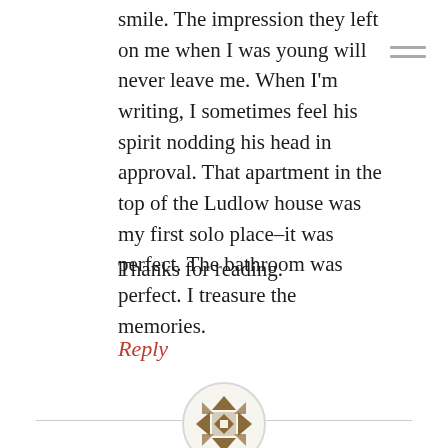smile. The impression they left on me when I was young will never leave me. When I'm writing, I sometimes feel his spirit nodding his head in approval. That apartment in the top of the Ludlow house was my first solo place–it was perfect. The bathroom was perfect. I treasure the memories.
Thanks for reading.
Reply
[Figure (illustration): Circular avatar icon with a geometric quilt-pattern design in brown/tan colors on a white background, surrounded by a light gray border circle.]
Janice
August 14, 2012 at 4:19 pm
Your blog is lovely and I will try to log in to follow you.